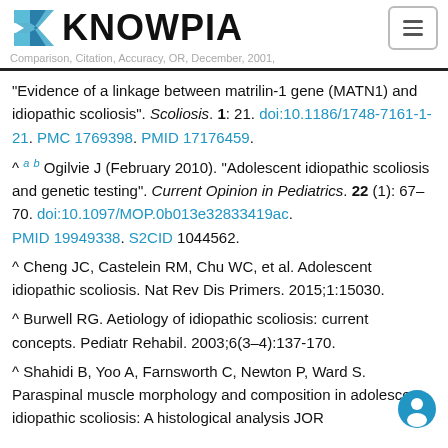KNOWPIA
"Evidence of a linkage between matrilin-1 gene (MATN1) and idiopathic scoliosis". Scoliosis. 1: 21. doi:10.1186/1748-7161-1-21. PMC 1769398. PMID 17176459.
^ a b Ogilvie J (February 2010). "Adolescent idiopathic scoliosis and genetic testing". Current Opinion in Pediatrics. 22 (1): 67–70. doi:10.1097/MOP.0b013e32833419ac. PMID 19949338. S2CID 1044562.
^ Cheng JC, Castelein RM, Chu WC, et al. Adolescent idiopathic scoliosis. Nat Rev Dis Primers. 2015;1:15030.
^ Burwell RG. Aetiology of idiopathic scoliosis: current concepts. Pediatr Rehabil. 2003;6(3–4):137-170.
^ Shahidi B, Yoo A, Farnsworth C, Newton P, Ward S. Paraspinal muscle morphology and composition in adolescent idiopathic scoliosis: A histological analysis JOR Spine. 2021 Sep 1(3). PMCID: PMC8473513.